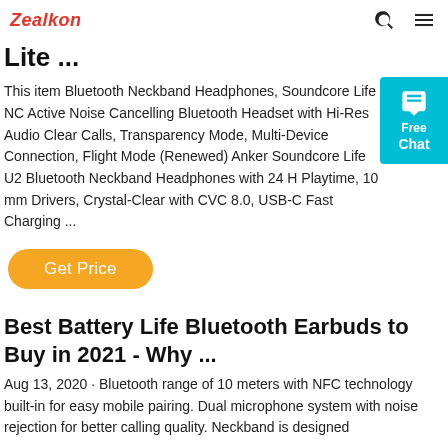Zealkon
Lite ...
This item Bluetooth Neckband Headphones, Soundcore Life NC Active Noise Cancelling Bluetooth Headset with Hi-Res Audio Clear Calls, Transparency Mode, Multi-Device Connection, Flight Mode (Renewed) Anker Soundcore Life U2 Bluetooth Neckband Headphones with 24 H Playtime, 10 mm Drivers, Crystal-Clear with CVC 8.0, USB-C Fast Charging ...
Get Price
Best Battery Life Bluetooth Earbuds to Buy in 2021 - Why ...
Aug 13, 2020 · Bluetooth range of 10 meters with NFC technology built-in for easy mobile pairing. Dual microphone system with noise rejection for better calling quality. Neckband is designed